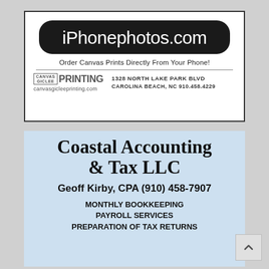[Figure (infographic): iPhonephotos.com advertisement with black pill-shaped logo, tagline 'Order Canvas Prints Directly From Your Phone!', Canvas Giclee Printing logo and address: 1328 North Lake Park Blvd, Carolina Beach, NC 910.458.4229, canvasgicleeprinting.com]
[Figure (infographic): Coastal Accounting & Tax LLC advertisement. Geoff Kirby, CPA (910) 458-7907. Monthly Bookkeeping, Payroll Services, Preparation of Tax Returns. Background shows calculator and pencil photo.]